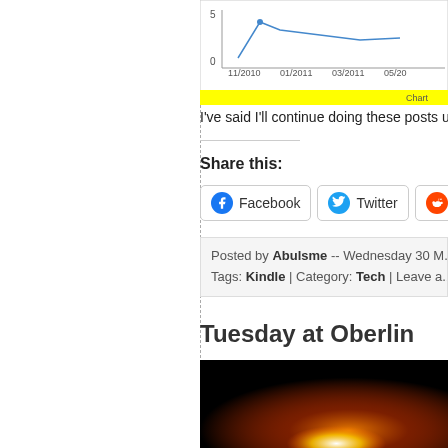[Figure (continuous-plot): Line chart showing data over time from 11/2010 to 05/2011, y-axis 0 to 5, with a yellow bar at bottom and 'Chart' label at right]
I've said I'll continue doing these posts u...
Share this:
Facebook | Twitter | Reddit
Posted by Abulsme -- Wednesday 30 M...
Tags: Kindle | Category: Tech | Leave a...
Tuesday at Oberlin
[Figure (photo): Dark photo with orange/red glow and bright light at bottom, appears to be a nighttime or low-light scene]